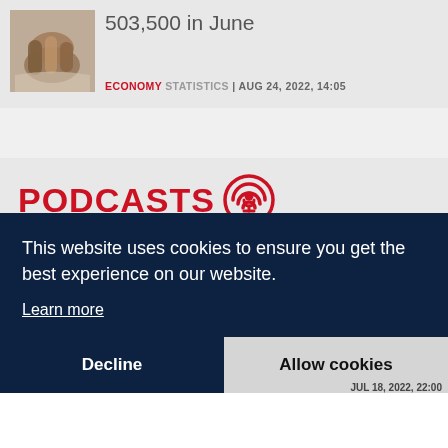[Figure (photo): Small thumbnail photo of rolled items (possibly rolled paper or fabric), brownish tones]
503,500 in June
ECONOMY STATISTICS | AUG 24, 2022, 14:05
PODCASTS
MNB and BIB exec director Gergely Fábián discusses leadership,
This website uses cookies to ensure you get the best experience on our website.
Learn more
Decline
Allow cookies
JUL 18, 2022, 22:00